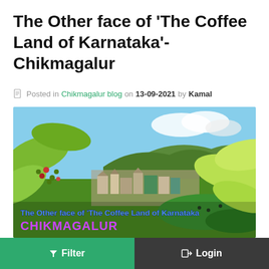The Other face of 'The Coffee Land of Karnataka'- Chikmagalur
Posted in Chikmagalur blog on 13-09-2021 by Kamal
[Figure (photo): Landscape photo of Chikmagalur showing coffee plantation leaves with berries in the foreground, a valley town in the middle ground, and green hills in the background. Text overlay reads: 'The Other face of 'The Coffee Land of Karnataka' CHIKMAGALUR']
Filter
Login